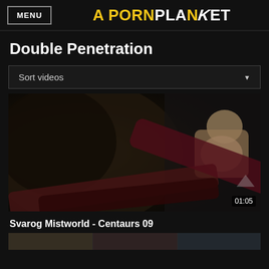MENU | A PORNPLANET
Double Penetration
Sort videos
[Figure (screenshot): Video thumbnail of animated 3D adult content, duration 01:05 shown in bottom right]
Svarog Mistworld - Centaurs 09